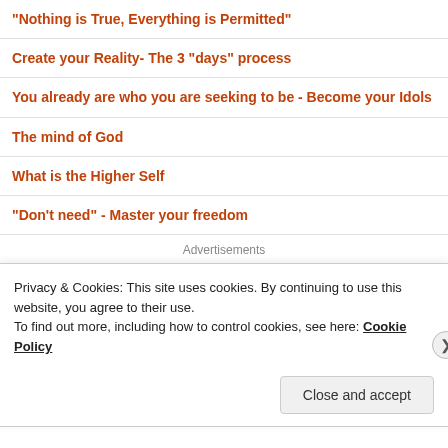"Nothing is True, Everything is Permitted"
Create your Reality- The 3 "days" process
You already are who you are seeking to be - Become your Idols
The mind of God
What is the Higher Self
"Don't need" - Master your freedom
Advertisements
Privacy & Cookies: This site uses cookies. By continuing to use this website, you agree to their use. To find out more, including how to control cookies, see here: Cookie Policy